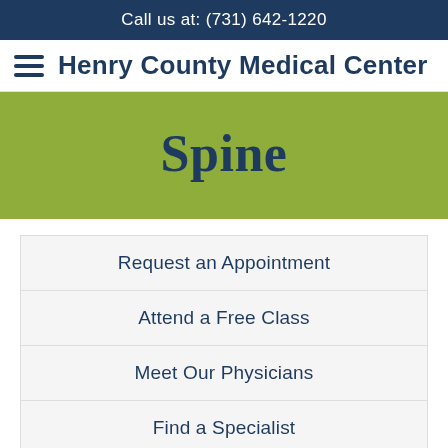Call us at: (731) 642-1220
Henry County Medical Center
Spine
Request an Appointment
Attend a Free Class
Meet Our Physicians
Find a Specialist
Request a Call